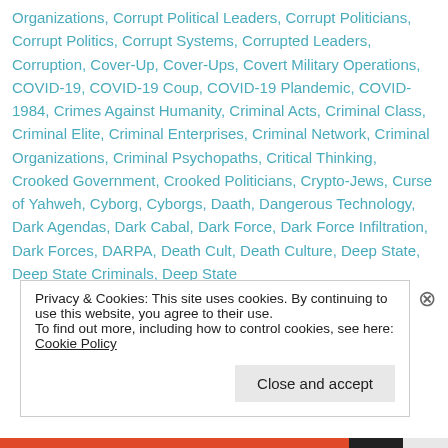Organizations, Corrupt Political Leaders, Corrupt Politicians, Corrupt Politics, Corrupt Systems, Corrupted Leaders, Corruption, Cover-Up, Cover-Ups, Covert Military Operations, COVID-19, COVID-19 Coup, COVID-19 Plandemic, COVID-1984, Crimes Against Humanity, Criminal Acts, Criminal Class, Criminal Elite, Criminal Enterprises, Criminal Network, Criminal Organizations, Criminal Psychopaths, Critical Thinking, Crooked Government, Crooked Politicians, Crypto-Jews, Curse of Yahweh, Cyborg, Cyborgs, Daath, Dangerous Technology, Dark Agendas, Dark Cabal, Dark Force, Dark Force Infiltration, Dark Forces, DARPA, Death Cult, Death Culture, Deep State, Deep State Criminals, Deep State
Privacy & Cookies: This site uses cookies. By continuing to use this website, you agree to their use. To find out more, including how to control cookies, see here: Cookie Policy
Close and accept